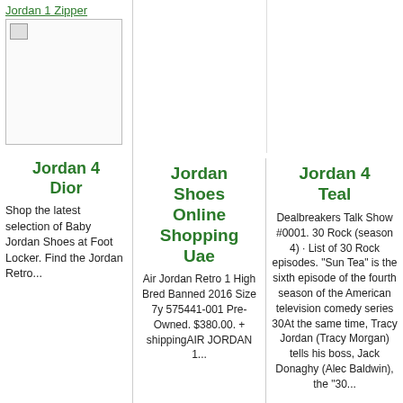Jordan 1 Zipper
[Figure (photo): Small broken image placeholder for Jordan 1 Zipper shoe]
Jordan 4 Dior
Shop the latest selection of Baby Jordan Shoes at Foot Locker. Find the Jordan Retro...
[Figure (photo): Empty white image placeholder]
Jordan Shoes Online Shopping Uae
Air Jordan Retro 1 High Bred Banned 2016 Size 7y 575441-001 Pre-Owned. $380.00. + shippingAIR JORDAN 1...
[Figure (photo): White image box top right column]
Jordan 4 Teal
Dealbreakers Talk Show #0001. 30 Rock (season 4) · List of 30 Rock episodes. "Sun Tea" is the sixth episode of the fourth season of the American television comedy series 30At the same time, Tracy Jordan (Tracy Morgan) tells his boss, Jack Donaghy (Alec Baldwin), the "30...